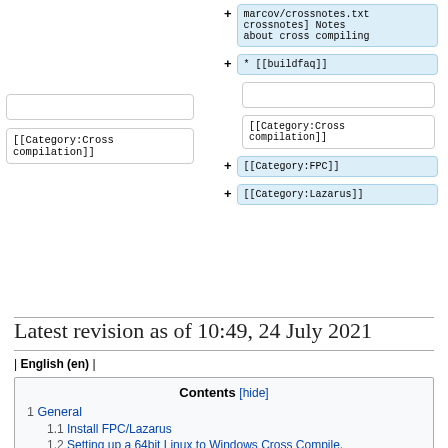[Figure (screenshot): Diff view showing code additions. Right column shows: marcov/crossnotes.txt crossnotes] Notes about cross compiling (blue highlighted block), * [[buildfaq]] (blue block), blank lines, [[Category:Cross compilation]] (white block on both sides), [[Category:FPC]] (blue block), [[Category:Lazarus]] (blue block).]
Latest revision as of 10:49, 24 July 2021
| English (en) |
Contents [hide]
1 General
1.1 Install FPC/Lazarus
1.2 Setting up a 64bit Linux to Windows Cross Compile.
1.3 Testing